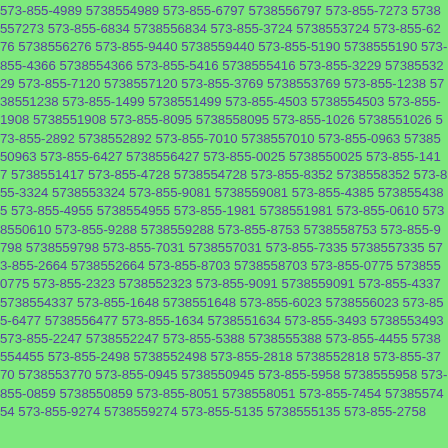573-855-4989 5738554989 573-855-6797 5738556797 573-855-7273 5738557273 573-855-6834 5738556834 573-855-3724 5738553724 573-855-6276 5738556276 573-855-9440 5738559440 573-855-5190 5738555190 573-855-4366 5738554366 573-855-5416 5738555416 573-855-3229 5738553229 573-855-7120 5738557120 573-855-3769 5738553769 573-855-1238 5738551238 573-855-1499 5738551499 573-855-4503 5738554503 573-855-1908 5738551908 573-855-8095 5738558095 573-855-1026 5738551026 573-855-2892 5738552892 573-855-7010 5738557010 573-855-0963 5738550963 573-855-6427 5738556427 573-855-0025 5738550025 573-855-1417 5738551417 573-855-4728 5738554728 573-855-8352 5738558352 573-855-3324 5738553324 573-855-9081 5738559081 573-855-4385 5738554385 573-855-4955 5738554955 573-855-1981 5738551981 573-855-0610 5738550610 573-855-9288 5738559288 573-855-8753 5738558753 573-855-9798 5738559798 573-855-7031 5738557031 573-855-7335 5738557335 573-855-2664 5738552664 573-855-8703 5738558703 573-855-0775 5738550775 573-855-2323 5738552323 573-855-9091 5738559091 573-855-4337 5738554337 573-855-1648 5738551648 573-855-6023 5738556023 573-855-6477 5738556477 573-855-1634 5738551634 573-855-3493 5738553493 573-855-2247 5738552247 573-855-5388 5738555388 573-855-4455 5738554455 573-855-2498 5738552498 573-855-2818 5738552818 573-855-3770 5738553770 573-855-0945 5738550945 573-855-5958 5738555958 573-855-0859 5738550859 573-855-8051 5738558051 573-855-7454 5738557454 573-855-9274 5738559274 573-855-5135 5738555135 573-855-2758